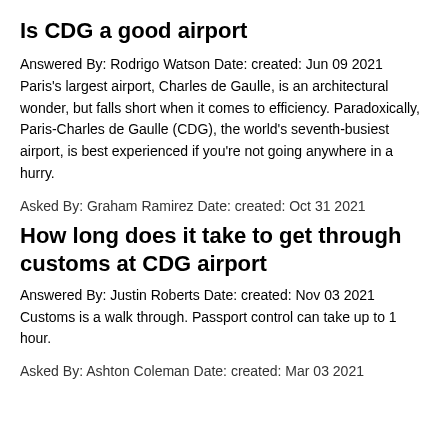Is CDG a good airport
Answered By: Rodrigo Watson Date: created: Jun 09 2021 Paris's largest airport, Charles de Gaulle, is an architectural wonder, but falls short when it comes to efficiency. Paradoxically, Paris-Charles de Gaulle (CDG), the world's seventh-busiest airport, is best experienced if you're not going anywhere in a hurry.
Asked By: Graham Ramirez Date: created: Oct 31 2021
How long does it take to get through customs at CDG airport
Answered By: Justin Roberts Date: created: Nov 03 2021 Customs is a walk through. Passport control can take up to 1 hour.
Asked By: Ashton Coleman Date: created: Mar 03 2021